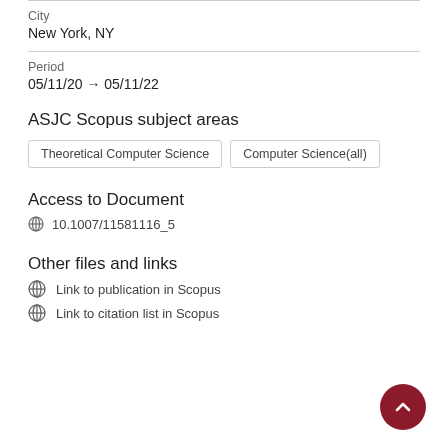City
New York, NY
Period
05/11/20 → 05/11/22
ASJC Scopus subject areas
Theoretical Computer Science
Computer Science(all)
Access to Document
10.1007/11581116_5
Other files and links
Link to publication in Scopus
Link to citation list in Scopus